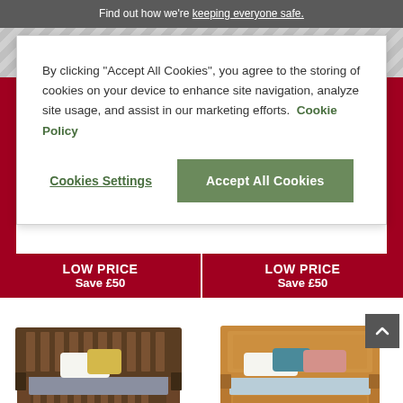Find out how we're keeping everyone safe.
By clicking “Accept All Cookies”, you agree to the storing of cookies on your device to enhance site navigation, analyze site usage, and assist in our marketing efforts. Cookie Policy
Cookies Settings
Accept All Cookies
LOW PRICE
Save £50
LOW PRICE
Save £50
[Figure (photo): Dark wood slatted bed frame with yellow decorative pillow and grey bedding]
[Figure (photo): Light oak panel bed frame with teal and pink decorative pillows and light blue bedding]